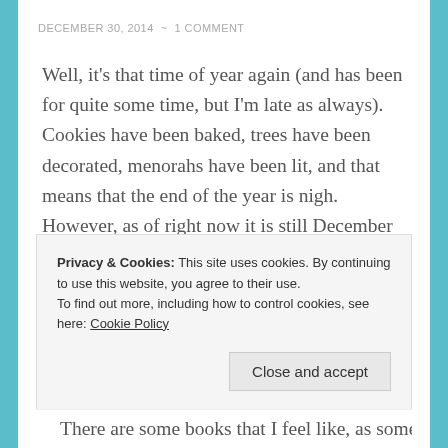DECEMBER 30, 2014  ~  1 COMMENT
Well, it's that time of year again (and has been for quite some time, but I'm late as always). Cookies have been baked, trees have been decorated, menorahs have been lit, and that means that the end of the year is nigh. However, as of right now it is still December 30th, 2014, and that means I still have time to post my favorite books of the year. And oh gosh, they were so good. So before I get distracted…
Privacy & Cookies: This site uses cookies. By continuing to use this website, you agree to their use.
To find out more, including how to control cookies, see here: Cookie Policy
Close and accept
There are some books that I feel like, as someone a